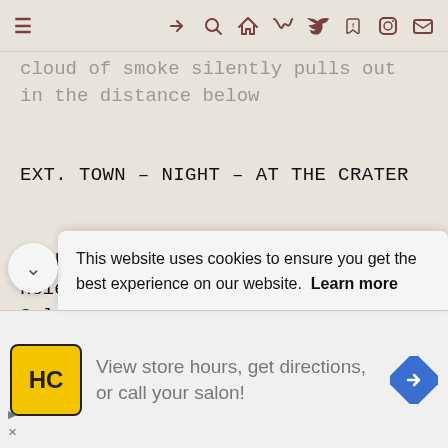≡   ➜  🔍  🏠  )))  🐦  f  (O)  ✉
cloud of smoke silently pulls out in the distance below
EXT. TOWN – NIGHT – AT THE CRATER
Smoke and dust whirl around a huge hole in the earth.
Splintered shreds of lumber stick up in the air
This website uses cookies to ensure you get the best experience on our website.  Learn more
View store hours, get directions, or call your salon!